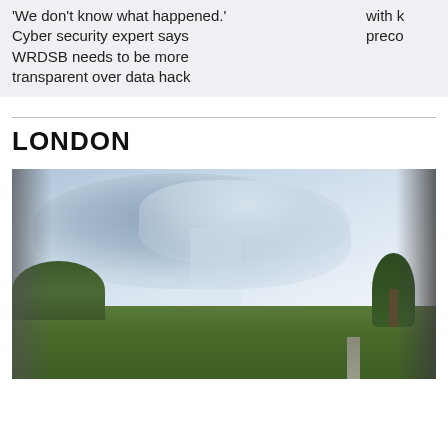'We don't know what happened.' Cyber security expert says WRDSB needs to be more transparent over data hack
with k preco
LONDON
[Figure (photo): Outdoor landscape photo showing dramatic storm clouds and rain curtain in the sky over green agricultural fields and trees, with blurred dark edges on left and right sides.]